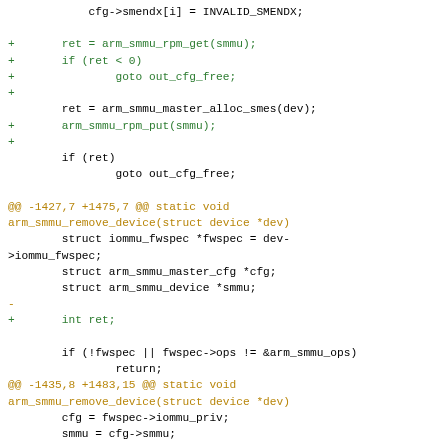[Figure (screenshot): Code diff showing changes to arm_smmu driver in C, with added lines in green and hunk headers in amber/gold color. Shows modifications to arm_smmu_remove_device function adding RPM get/put calls and int ret variable.]